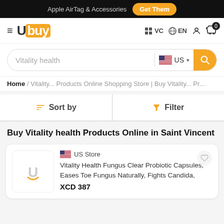Apple AirTag & Accessories  Get Them
[Figure (logo): Ubuy logo with orange highlight on 'buy' letters]
Vitality health  US  (search bar)
Home / Vitality... Products Online Shopping Store | Buy Vitality... Pr...
Sort by   Filter
Buy Vitality health Products Online in Saint Vincent
US Store
Vitality Health Fungus Clear Probiotic Capsules, Eases Toe Fungus Naturally, Fights Candida,
XCD 387